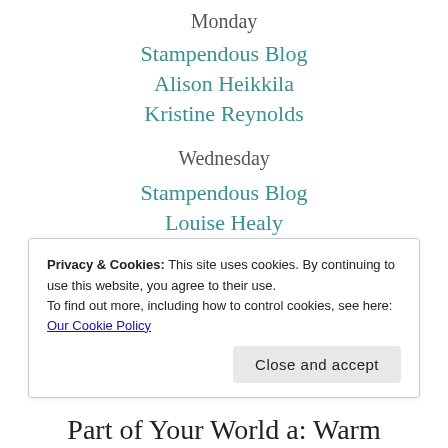Monday
Stampendous Blog
Alison Heikkila
Kristine Reynolds
Wednesday
Stampendous Blog
Louise Healy
Kristine Reynolds
Privacy & Cookies: This site uses cookies. By continuing to use this website, you agree to their use. To find out more, including how to control cookies, see here: Our Cookie Policy
Close and accept
Part of Your World a: Warm